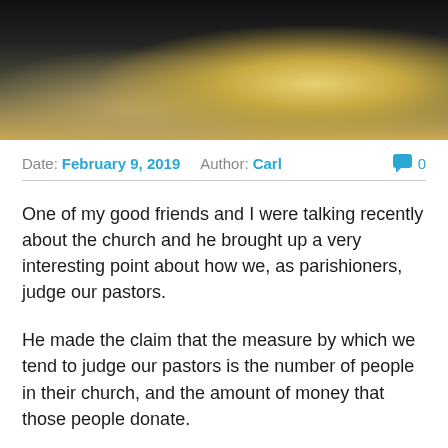[Figure (photo): Close-up photo of people reading or holding an open book/bible, dark background with yellow light visible]
Date: February 9, 2019   Author: Carl   💬 0
One of my good friends and I were talking recently about the church and he brought up a very interesting point about how we, as parishioners, judge our pastors.
He made the claim that the measure by which we tend to judge our pastors is the number of people in their church, and the amount of money that those people donate.
This should not be how it is done, and there are very